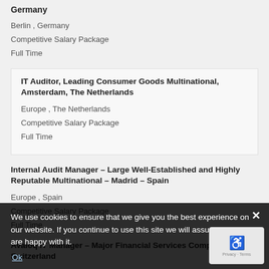Germany
Berlin , Germany
Competitive Salary Package
Full Time
IT Auditor, Leading Consumer Goods Multinational, Amsterdam, The Netherlands
Europe , The Netherlands
Competitive Salary Package
Full Time
Internal Audit Manager – Large Well-Established and Highly Reputable Multinational – Madrid – Spain
Europe , Spain
Competitive Salary Package
Full Time
Avaloq IT Manager – Major Financial Services Company – Zur Switzerland
Europe , Switzerland
Competitive Salary Package
We use cookies to ensure that we give you the best experience on our website. If you continue to use this site we will assume that you are happy with it.